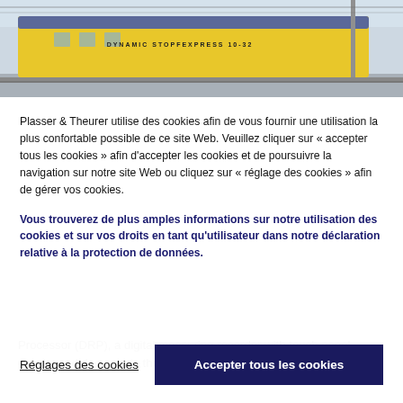[Figure (photo): Yellow Plasser & Theurer Dynamic Stopfexpress train/machine on a railway track, with overhead wires and a pole visible in the background.]
Plasser & Theurer utilise des cookies afin de vous fournir une utilisation la plus confortable possible de ce site Web. Veuillez cliquer sur « accepter tous les cookies » afin d'accepter les cookies et de poursuivre la navigation sur notre site Web ou cliquez sur « réglage des cookies » afin de gérer vos cookies.
Vous trouverez de plus amples informations sur notre utilisation des cookies et sur vos droits en tant qu'utilisateur dans notre déclaration relative à la protection de données.
Réglages des cookies
Accepter tous les cookies
Processor (DRP), a digital measuring recorder with touch panel, checks and documents the tamping and lining work.